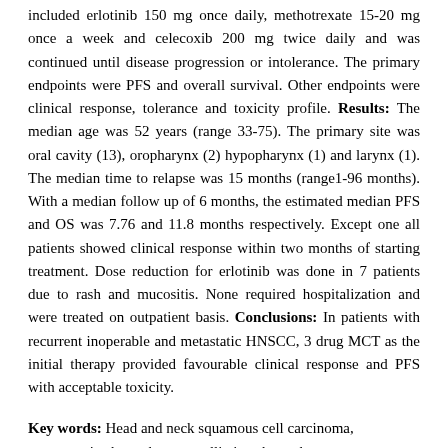included erlotinib 150 mg once daily, methotrexate 15-20 mg once a week and celecoxib 200 mg twice daily and was continued until disease progression or intolerance. The primary endpoints were PFS and overall survival. Other endpoints were clinical response, tolerance and toxicity profile. Results: The median age was 52 years (range 33-75). The primary site was oral cavity (13), oropharynx (2) hypopharynx (1) and larynx (1). The median time to relapse was 15 months (range1-96 months). With a median follow up of 6 months, the estimated median PFS and OS was 7.76 and 11.8 months respectively. Except one all patients showed clinical response within two months of starting treatment. Dose reduction for erlotinib was done in 7 patients due to rash and mucositis. None required hospitalization and were treated on outpatient basis. Conclusions: In patients with recurrent inoperable and metastatic HNSCC, 3 drug MCT as the initial therapy provided favourable clinical response and PFS with acceptable toxicity.
Key words: Head and neck squamous cell carcinoma, metronomic chemotherapy, palliative chemotherapy
CR176: Evaluation of Neck Masses using Diffusion Weighted MRI at 3 Tesla
please see additional illustration in supplemental data below